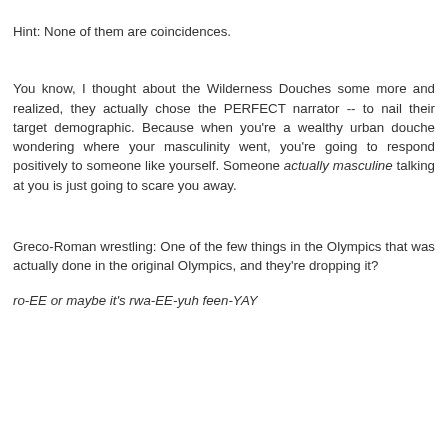Hint: None of them are coincidences.
You know, I thought about the Wilderness Douches some more and realized, they actually chose the PERFECT narrator -- to nail their target demographic. Because when you're a wealthy urban douche wondering where your masculinity went, you're going to respond positively to someone like yourself. Someone actually masculine talking at you is just going to scare you away.
Greco-Roman wrestling: One of the few things in the Olympics that was actually done in the original Olympics, and they're dropping it?
ro-EE or maybe it's rwa-EE-yuh feen-YAY